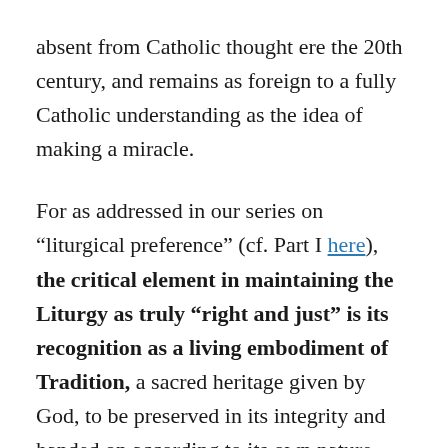absent from Catholic thought ere the 20th century, and remains as foreign to a fully Catholic understanding as the idea of making a miracle.
For as addressed in our series on “liturgical preference” (cf. Part I here), the critical element in maintaining the Liturgy as truly “right and just” is its recognition as a living embodiment of Tradition, a sacred heritage given by God, to be preserved in its integrity and handed on according to its own nature.
It should therefore come as no surprise to find